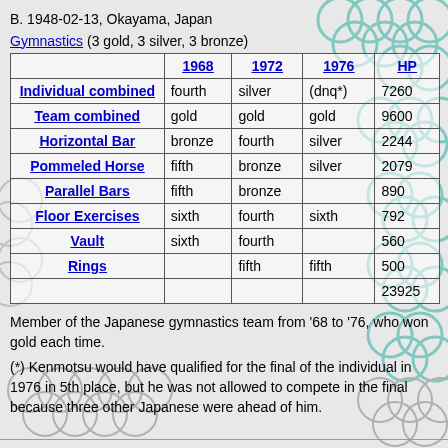B. 1948-02-13, Okayama, Japan
Gymnastics (3 gold, 3 silver, 3 bronze)
|  | 1968 | 1972 | 1976 | HP |
| --- | --- | --- | --- | --- |
| Individual combined | fourth | silver | (dnq*) | 7260 |
| Team combined | gold | gold | gold | 9600 |
| Horizontal Bar | bronze | fourth | silver | 2244 |
| Pommeled Horse | fifth | bronze | silver | 2079 |
| Parallel Bars | fifth | bronze |  | 890 |
| Floor Exercises | sixth | fourth | sixth | 792 |
| Vault | sixth | fourth |  | 560 |
| Rings |  | fifth | fifth | 500 |
|  |  |  |  | 23925 |
Member of the Japanese gymnastics team from '68 to '76, who won gold each time.
(*) Kenmotsu would have qualified for the final of the individual in 1976 in 5th place, but he was not allowed to compete in the final because three other Japanese were ahead of him.